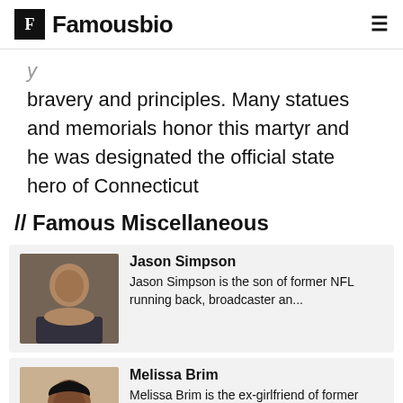Famousbio
bravery and principles. Many statues and memorials honor this martyr and he was designated the official state hero of Connecticut
// Famous Miscellaneous
[Figure (photo): Photo of Jason Simpson, a man]
Jason Simpson - Jason Simpson is the son of former NFL running back, broadcaster an...
[Figure (photo): Photo of Melissa Brim, a woman smiling]
Melissa Brim - Melissa Brim is the ex-girlfriend of former professional boxer Floyd...